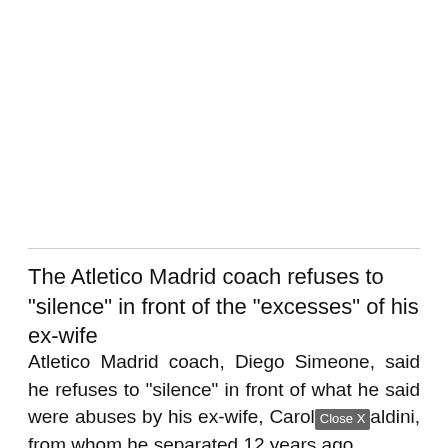The Atletico Madrid coach refuses to "silence" in front of the "excesses" of his ex-wife
Atletico Madrid coach, Diego Simeone, said he refuses to "silence" in front of what he said were abuses by his ex-wife, Carol [Close X] aldini, from whom he separated 12 years ago.